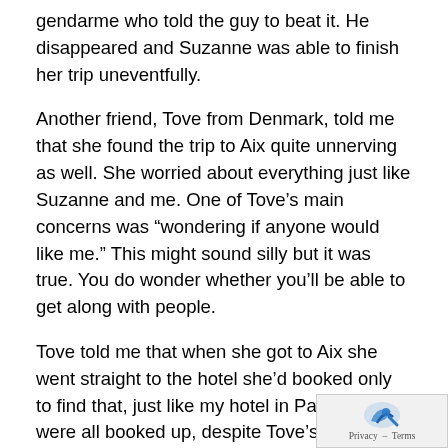gendarme who told the guy to beat it. He disappeared and Suzanne was able to finish her trip uneventfully.
Another friend, Tove from Denmark, told me that she found the trip to Aix quite unnerving as well. She worried about everything just like Suzanne and me. One of Tove’s main concerns was “wondering if anyone would like me.” This might sound silly but it was true. You do wonder whether you’ll be able to get along with people.
Tove told me that when she got to Aix she went straight to the hotel she’d booked only to find that, just like my hotel in Paris, they were all booked up, despite Tove’s reservation. Frustrated, she insisted that they phone around to find her another place. They did so, but apparently not very willingly. It didn’t do any good. She was informed that every hotel around was booked sorry. Alone, with more bags than she could easily c (just like me), she became quite concerned about her